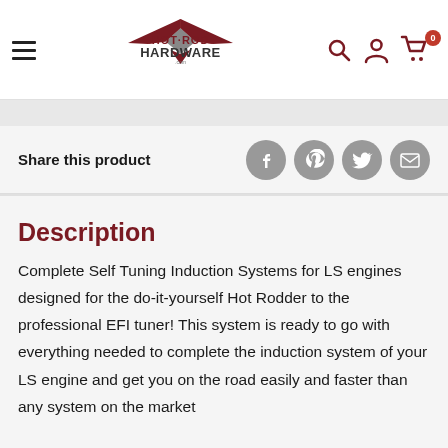HOT ROD HARDWARE
Share this product
Description
Complete Self Tuning Induction Systems for LS engines designed for the do-it-yourself Hot Rodder to the professional EFI tuner! This system is ready to go with everything needed to complete the induction system of your LS engine and get you on the road easily and faster than any system on the market